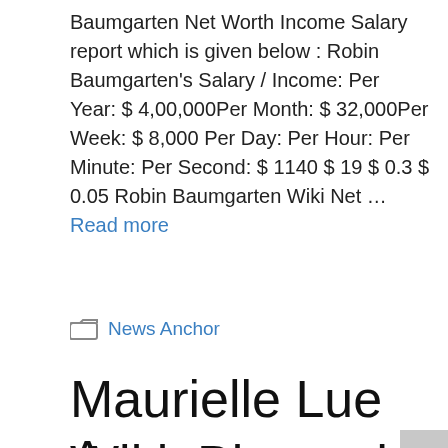Baumgarten Net Worth Income Salary report which is given below : Robin Baumgarten's Salary / Income: Per Year: $ 4,00,000Per Month: $ 32,000Per Week: $ 8,000 Per Day: Per Hour: Per Minute: Per Second: $ 1140 $ 19 $ 0.3 $ 0.05 Robin Baumgarten Wiki Net … Read more
Categories: News Anchor
Maurielle Lue Age, Wiki, Biography, Body